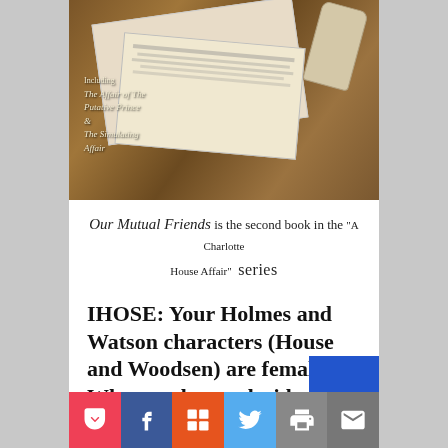[Figure (photo): Book cover photo of 'Our Mutual Friends' showing papers, scrolls and botanical illustrations on a wooden desk surface, with italic text overlay reading 'Including The Affair of The Putative Prince & The Simulating Affair']
Our Mutual Friends is the second book in the "A Charlotte House Affair" series
IHOSE: Your Holmes and Watson characters (House and Woodsen) are female. What made you decide to switch their genders? What surprised you about writing the Doyle...